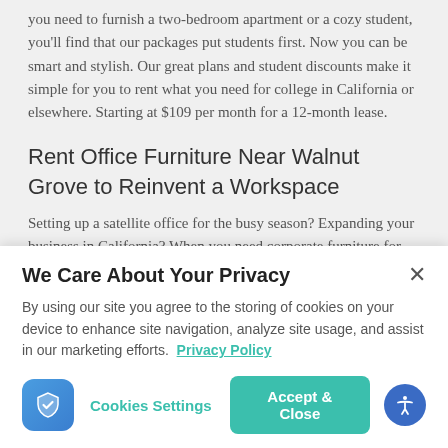you need to furnish a two-bedroom apartment or a cozy student, you'll find that our packages put students first. Now you can be smart and stylish. Our great plans and student discounts make it simple for you to rent what you need for college in California or elsewhere. Starting at $109 per month for a 12-month lease.
Rent Office Furniture Near Walnut Grove to Reinvent a Workspace
Setting up a satellite office for the busy season? Expanding your business in California? When you need corporate furniture for
We Care About Your Privacy
By using our site you agree to the storing of cookies on your device to enhance site navigation, analyze site usage, and assist in our marketing efforts.  Privacy Policy
Cookies Settings
Accept & Close